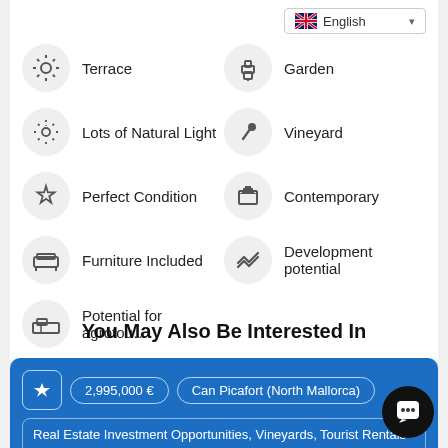Terrace
Garden
Lots of Natural Light
Vineyard
Perfect Condition
Contemporary
Furniture Included
Development potential
Potential for agrotou…
You May Also Be Interested In
2,995,000 €  Can Picafort (North Mallorca)
Real Estate Investment Opportunities, Vineyards, Tourist Rentals & Hotels